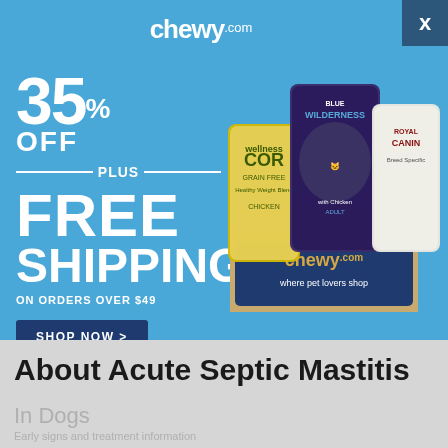[Figure (screenshot): Chewy.com advertisement banner showing 35% off plus free shipping on orders over $49, with a Shop Now button and pet food product images in a chewy.com branded box]
About Acute Septic Mastitis
In Dogs
Early signs and treatment information